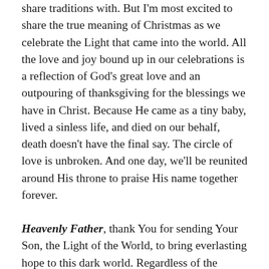share traditions with. But I'm most excited to share the true meaning of Christmas as we celebrate the Light that came into the world. All the love and joy bound up in our celebrations is a reflection of God's great love and an outpouring of thanksgiving for the blessings we have in Christ. Because He came as a tiny baby, lived a sinless life, and died on our behalf, death doesn't have the final say. The circle of love is unbroken. And one day, we'll be reunited around His throne to praise His name together forever.
Heavenly Father, thank You for sending Your Son, the Light of the World, to bring everlasting hope to this dark world. Regardless of the source of darkness – sin, grief, illness, loss – we have the confidence that the darkness will never overcome the Light. Please help us not to hide our light under a basket, but place it on a pedestal for all